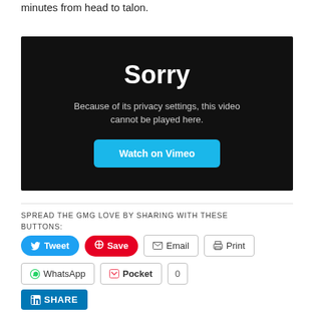minutes from head to talon.
[Figure (screenshot): Vimeo embedded video player showing privacy error: 'Sorry — Because of its privacy settings, this video cannot be played here.' with a 'Watch on Vimeo' button on a black background.]
SPREAD THE GMG LOVE BY SHARING WITH THESE BUTTONS:
Tweet
Save
Email
Print
WhatsApp
Pocket 0
SHARE